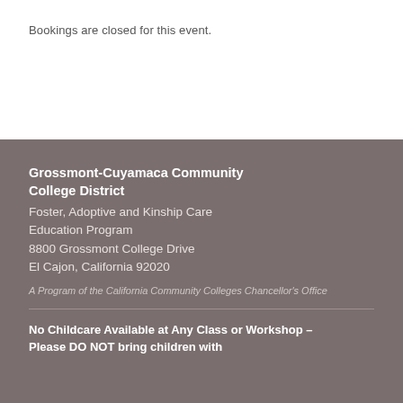Bookings are closed for this event.
Grossmont-Cuyamaca Community College District
Foster, Adoptive and Kinship Care Education Program
8800 Grossmont College Drive
El Cajon, California 92020
A Program of the California Community Colleges Chancellor's Office
No Childcare Available at Any Class or Workshop – Please DO NOT bring children with